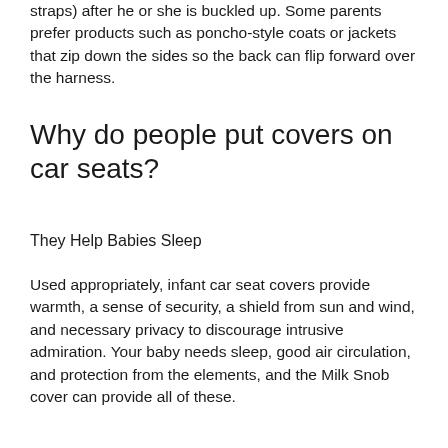straps) after he or she is buckled up. Some parents prefer products such as poncho-style coats or jackets that zip down the sides so the back can flip forward over the harness.
Why do people put covers on car seats?
They Help Babies Sleep
Used appropriately, infant car seat covers provide warmth, a sense of security, a shield from sun and wind, and necessary privacy to discourage intrusive admiration. Your baby needs sleep, good air circulation, and protection from the elements, and the Milk Snob cover can provide all of these.